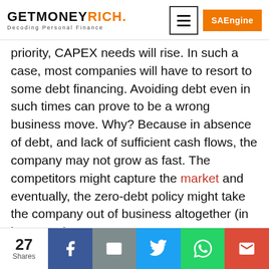GETMONEYRICH. Decoding Personal Finance
priority, CAPEX needs will rise. In such a case, most companies will have to resort to some debt financing. Avoiding debt even in such times can prove to be a wrong business move. Why? Because in absence of debt, and lack of sufficient cash flows, the company may not grow as fast. The competitors might capture the market and eventually, the zero-debt policy might take the company out of business altogether (in long term).
27 Shares | Facebook | Email | Twitter | WhatsApp | Gmail